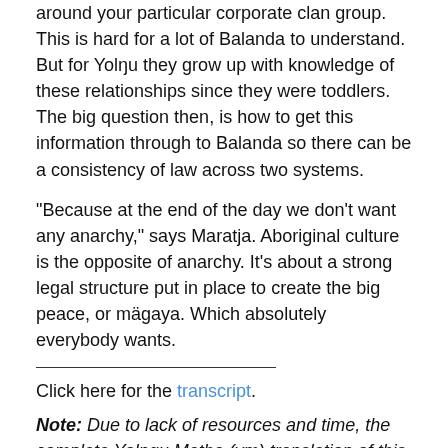around your particular corporate clan group. This is hard for a lot of Balanda to understand. But for Yolŋu they grow up with knowledge of these relationships since they were toddlers. The big question then, is how to get this information through to Balanda so there can be a consistency of law across two systems.
“Because at the end of the day we don’t want any anarchy,” says Maratja. Aboriginal culture is the opposite of anarchy. It’s about a strong legal structure put in place to create the big peace, or mägaya. Which absolutely everybody wants.
Click here for the transcript.
Note: Due to lack of resources and time, the complete Yolngu Matha (ym) translation of this series has not been finalised. This translation is done at our own time and cost. You can help us by donating here (thank-you!). Because of the vital nature of this subject we will update this as soon as possible